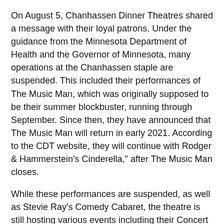On August 5, Chanhassen Dinner Theatres shared a message with their loyal patrons. Under the guidance from the Minnesota Department of Health and the Governor of Minnesota, many operations at the Chanhassen staple are suspended. This included their performances of The Music Man, which was originally supposed to be their summer blockbuster, running through September. Since then, they have announced that The Music Man will return in early 2021. According to the CDT website, they will continue with Rodger & Hammerstein's Cinderella," after The Music Man closes.
While these performances are suspended, as well as Stevie Ray's Comedy Cabaret, the theatre is still hosting various events including their Concert Series which have moved from the Fireside Theatre, temporarily to the Main Dinner Theatre to maintain social distancing. Guests are still required to wear a face mask when they are not eating or drinking. Below are some that are upcoming:
MTV Unplugged
Saturday, Sept. 5, 2020
Two of the nation's top tribute bands join together to recreate the famous "MTV Unplugged' concert series from the '90s. The